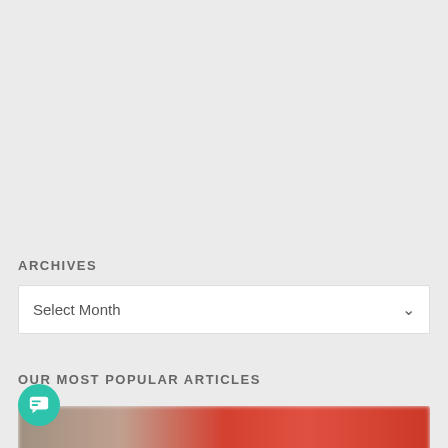ARCHIVES
Select Month
OUR MOST POPULAR ARTICLES
[Figure (photo): Blurred photo showing red and brown tones, partially visible at the bottom of the page]
[Figure (other): Teal circular chat/message button icon in bottom left corner]